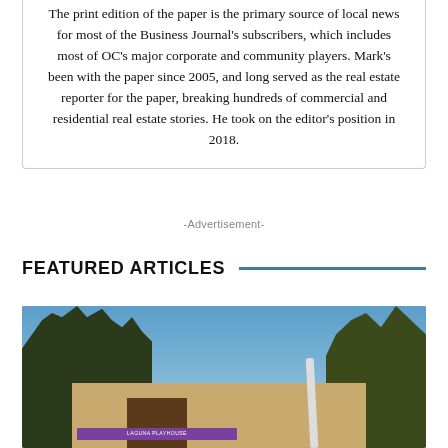The print edition of the paper is the primary source of local news for most of the Business Journal's subscribers, which includes most of OC's major corporate and community players. Mark's been with the paper since 2005, and long served as the real estate reporter for the paper, breaking hundreds of commercial and residential real estate stories. He took on the editor's position in 2018.
-Advertisement-
FEATURED ARTICLES
[Figure (photo): Exterior photo of a building with adobe/southwestern architecture, a purple sign reading 'LAGUNA PLAYHOUSE', trees in the background, and a clear blue sky.]